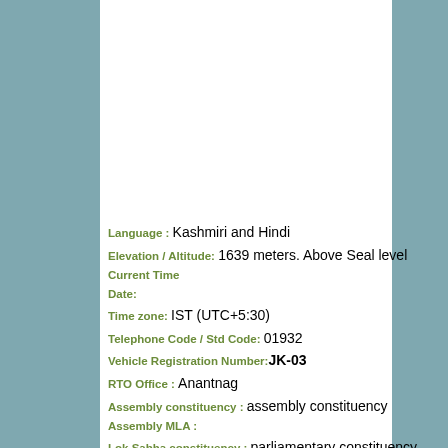Language : Kashmiri and Hindi
Elevation / Altitude: 1639 meters. Above Seal level
Current Time
Date:
Time zone: IST (UTC+5:30)
Telephone Code / Std Code: 01932
Vehicle Registration Number: JK-03
RTO Office : Anantnag
Assembly constituency : assembly constituency
Assembly MLA :
Lok Sabha constituency : parliamentary constituency
Parliament MP :